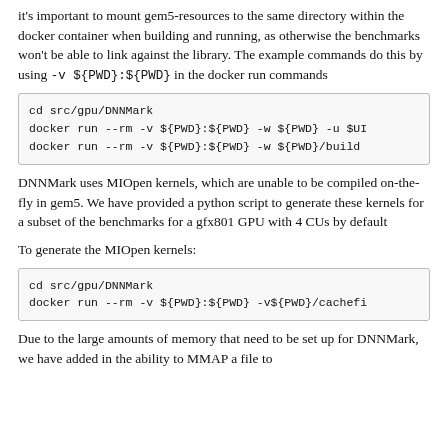it's important to mount gem5-resources to the same directory within the docker container when building and running, as otherwise the benchmarks won't be able to link against the library. The example commands do this by using -v ${PWD}:${PWD} in the docker run commands
cd src/gpu/DNNMark
docker run --rm -v ${PWD}:${PWD} -w ${PWD} -u $UI
docker run --rm -v ${PWD}:${PWD} -w ${PWD}/build
DNNMark uses MIOpen kernels, which are unable to be compiled on-the-fly in gem5. We have provided a python script to generate these kernels for a subset of the benchmarks for a gfx801 GPU with 4 CUs by default
To generate the MIOpen kernels:
cd src/gpu/DNNMark
docker run --rm -v ${PWD}:${PWD} -v${PWD}/cachefi
Due to the large amounts of memory that need to be set up for DNNMark, we have added in the ability to MMAP a file to